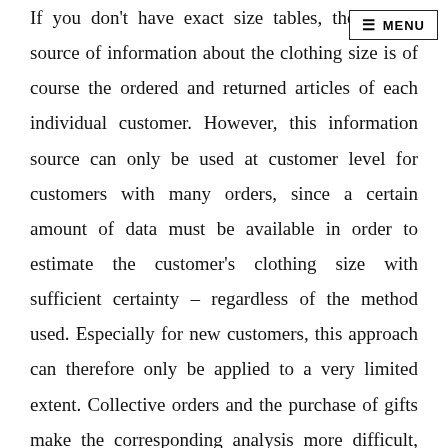If you don't have exact size tables, the second source of information about the clothing size is of course the ordered and returned articles of each individual customer. However, this information source can only be used at customer level for customers with many orders, since a certain amount of data must be available in order to estimate the customer's clothing size with sufficient certainty – regardless of the method used. Especially for new customers, this approach can therefore only be applied to a very limited extent. Collective orders and the purchase of gifts make the corresponding analysis more difficult, but selection orders are more advantageous – as long